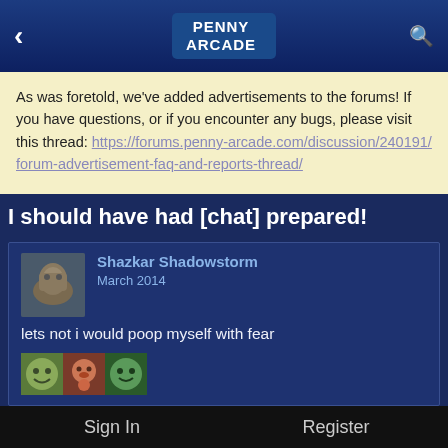Penny Arcade
As was foretold, we've added advertisements to the forums! If you have questions, or if you encounter any bugs, please visit this thread: https://forums.penny-arcade.com/discussion/240191/forum-advertisement-faq-and-reports-thread/
I should have had [chat] prepared!
Shazkar Shadowstorm
March 2014

lets not i would poop myself with fear
Cinders
Sign In    Register